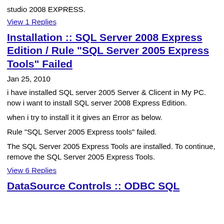studio 2008 EXPRESS.
View 1 Replies
Installation :: SQL Server 2008 Express Edition / Rule "SQL Server 2005 Express Tools" Failed
Jan 25, 2010
i have installed SQL server 2005 Server & Clicent in My PC. now i want to install SQL server 2008 Express Edition.
when i try to install it it gives an Error as below.
Rule "SQL Server 2005 Express tools" failed.
The SQL Server 2005 Express Tools are installed. To continue, remove the SQL Server 2005 Express Tools.
View 6 Replies
DataSource Controls :: ODBC SQL